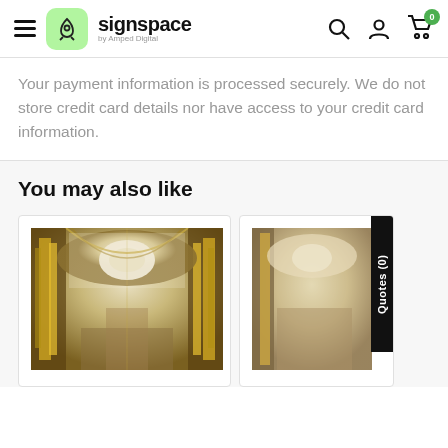signspace by Amped Digital
Your payment information is processed securely. We do not store credit card details nor have access to your credit card information.
You may also like
[Figure (photo): Two product card thumbnails showing upward view of ornate cathedral interior with gold and white baroque architecture. A 'Quotes (0)' black vertical tab is on the right side.]